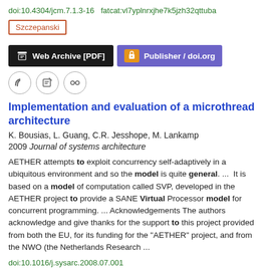doi:10.4304/jcm.7.1.3-16  fatcat:vl7yplnrxjhe7k5jzh32qttuba
Szczepanski
Web Archive [PDF]  Publisher / doi.org
Implementation and evaluation of a microthread architecture
K. Bousias, L. Guang, C.R. Jesshope, M. Lankamp
2009 Journal of systems architecture
AETHER attempts to exploit concurrency self-adaptively in a ubiquitous environment and so the model is quite general.  ...  It is based on a model of computation called SVP, developed in the AETHER project to provide a SANE Virtual Processor model for concurrent programming.  ...  Acknowledgements The authors acknowledge and give thanks for the support to this project provided from both the EU, for its funding for the "AETHER" project, and from the NWO (the Netherlands Research  ...
doi:10.1016/j.sysarc.2008.07.001
fatcat:44ug6mcpuzgpvp56sysa73ibpu